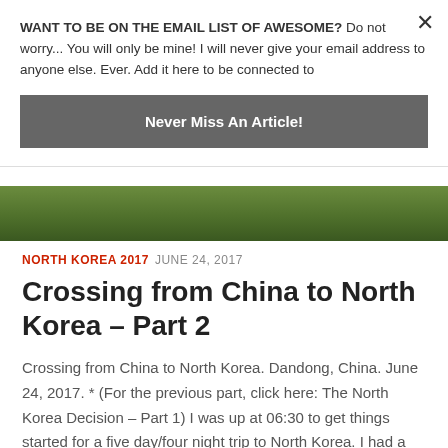WANT TO BE ON THE EMAIL LIST OF AWESOME? Do not worry... You will only be mine! I will never give your email address to anyone else. Ever. Add it here to be connected to
Never Miss An Article!
[Figure (photo): Green foliage photo strip, partially visible]
NORTH KOREA 2017   JUNE 24, 2017
Crossing from China to North Korea – Part 2
Crossing from China to North Korea. Dandong, China. June 24, 2017. * (For the previous part, click here: The North Korea Decision – Part 1) I was up at 06:30 to get things started for a five day/four night trip to North Korea.  I had a list of jobs to work on, including going onto this website and taking down any articles that were connected